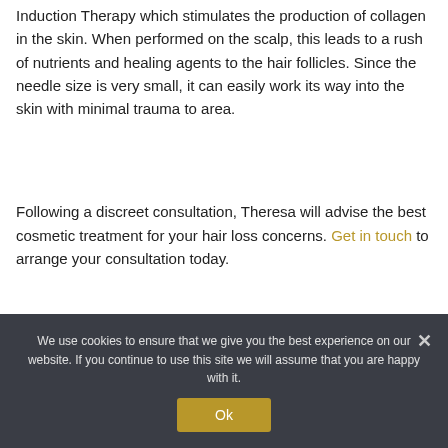Induction Therapy which stimulates the production of collagen in the skin. When performed on the scalp, this leads to a rush of nutrients and healing agents to the hair follicles. Since the needle size is very small, it can easily work its way into the skin with minimal trauma to area.
Following a discreet consultation, Theresa will advise the best cosmetic treatment for your hair loss concerns. Get in touch to arrange your consultation today.
We use cookies to ensure that we give you the best experience on our website. If you continue to use this site we will assume that you are happy with it.